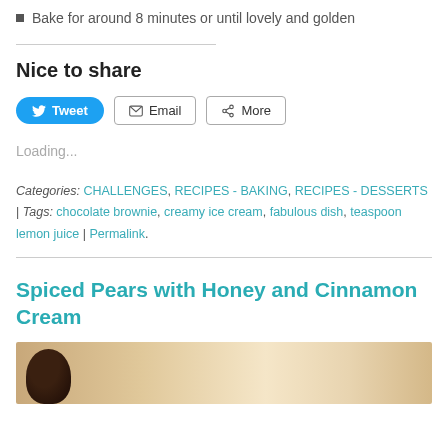Bake for around 8 minutes or until lovely and golden
Nice to share
[Figure (other): Social share buttons: Tweet (Twitter/blue pill button), Email (outline button with envelope icon), More (outline button with share icon)]
Loading...
Categories: CHALLENGES, RECIPES - BAKING, RECIPES - DESSERTS | Tags: chocolate brownie, creamy ice cream, fabulous dish, teaspoon lemon juice | Permalink.
Spiced Pears with Honey and Cinnamon Cream
[Figure (photo): Partial photo of a food dish with dark round objects on a beige/cream background]